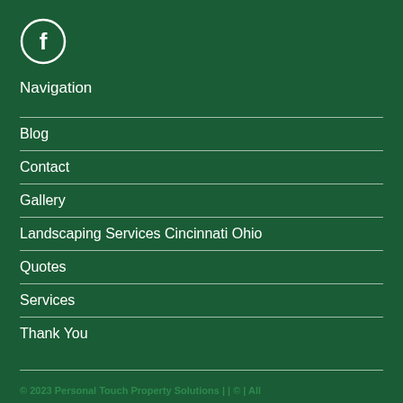[Figure (logo): Facebook logo icon — circle with 'f' letter in white outline on dark green background]
Navigation
Blog
Contact
Gallery
Landscaping Services Cincinnati Ohio
Quotes
Services
Thank You
© 2023 Personal Touch Property Solutions | | © | All